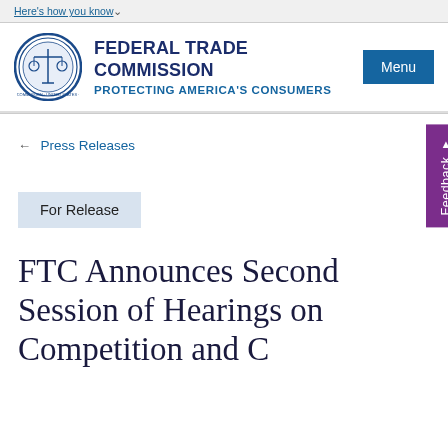Here's how you know
[Figure (logo): Federal Trade Commission seal/logo — circular seal with scales of justice]
FEDERAL TRADE COMMISSION
PROTECTING AMERICA'S CONSUMERS
Menu
← Press Releases
Feedback
For Release
FTC Announces Second Session of Hearings on Competition and C...